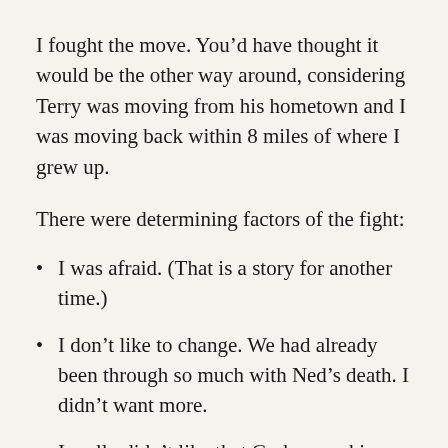I fought the move. You’d have thought it would be the other way around, considering Terry was moving from his hometown and I was moving back within 8 miles of where I grew up.
There were determining factors of the fight:
I was afraid. (That is a story for another time.)
I don’t like to change. We had already been through so much with Ned’s death. I didn’t want more.
I really didn’t like that God was asking me to go. I knew it was the right move for us to make but I just couldn’t believe He was actually asking us to